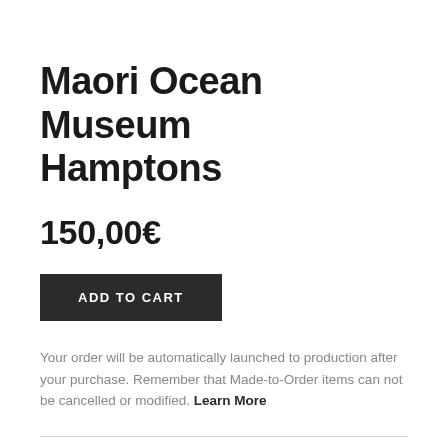Maori Ocean Museum Hamptons
150,00€
ADD TO CART
Your order will be automatically launched to production after your purchase. Remember that Made-to-Order items can not be cancelled or modified. Learn More
| Field | Value |
| --- | --- |
| SKU | LE-49_4125 |
| Category |  |